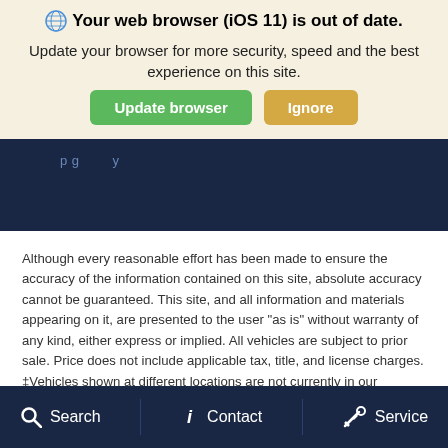🌐 Your web browser (iOS 11) is out of date.
Update your browser for more security, speed and the best experience on this site.
[Figure (screenshot): Two buttons: green 'Update browser' button and tan 'Ignore' button]
[Figure (screenshot): Dark navy blue navigation bar with partial text visible]
Although every reasonable effort has been made to ensure the accuracy of the information contained on this site, absolute accuracy cannot be guaranteed. This site, and all information and materials appearing on it, are presented to the user "as is" without warranty of any kind, either express or implied. All vehicles are subject to prior sale. Price does not include applicable tax, title, and license charges. ‡Vehicles shown at different locations are not currently in our inventory (Not in Stock) but can be made available to you at our location within a reasonable date from the time of your request, not to exceed one week.
Search   Contact   Service